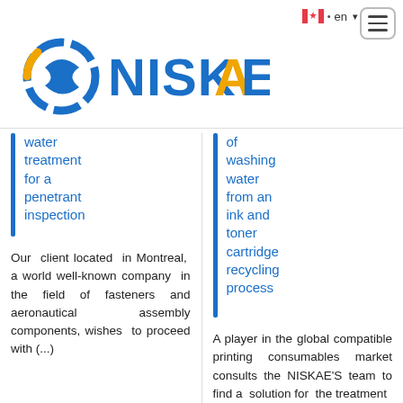[Figure (logo): NISKAE company logo with circular icon in blue, white, and gold, and the text NISKAE in large blue letters]
water treatment for a penetrant inspection
Our client located in Montreal, a world well-known company in the field of fasteners and aeronautical assembly components, wishes to proceed with (...)
of washing water from an ink and toner cartridge recycling process
A player in the global compatible printing consumables market consults the NISKAE'S team to find a solution for the treatment